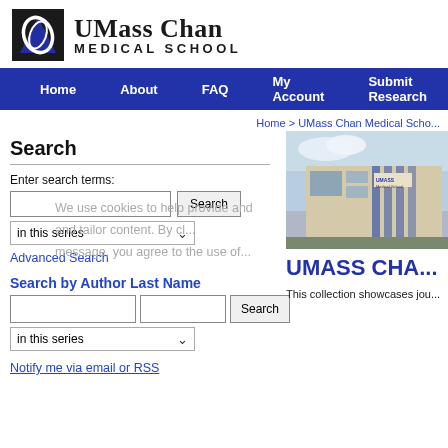[Figure (logo): UMass Chan Medical School logo with stylized U icon and text]
Home   About   FAQ   My Account   Submit Research
Home > UMass Chan Medical Scho...
Search
Enter search terms:
in this series
Advanced Search
Search by Author Last Name
in this series
Notify me via email or RSS
[Figure (photo): Photo of UMass Medical School building exterior]
UMASS CHA...
This collection showcases jou...